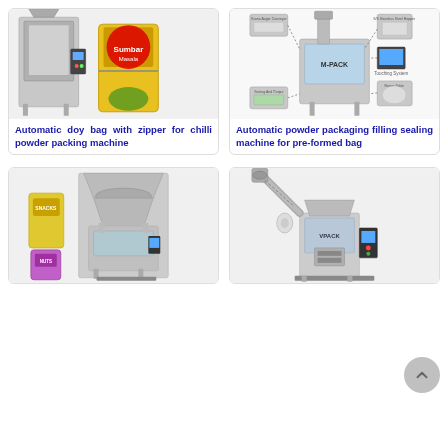[Figure (photo): Automatic doy bag with zipper for chilli powder packing machine - photo of packaging machine with yellow product bag]
Automatic doy bag with zipper for chilli powder packing machine
[Figure (photo): Automatic powder packaging filling sealing machine for pre-formed bag - diagram showing machine components with labels]
Automatic powder packaging filling sealing machine for pre-formed bag
[Figure (photo): Packaging machine with multihead weigher and pouch bags for snacks/granules products]
[Figure (photo): Vertical powder packing machine with screw auger filler conveyor]